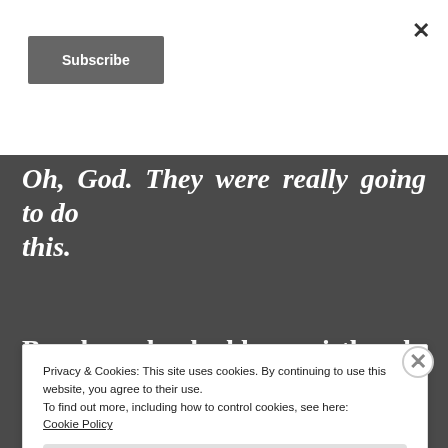×
Subscribe
Oh, God. They were really going to do this.
Brooke unhooked her waistband, opened the zipper, and pushed down her pants. They fell to mid-calf,
Privacy & Cookies: This site uses cookies. By continuing to use this website, you agree to their use.
To find out more, including how to control cookies, see here:
Cookie Policy
Close and accept